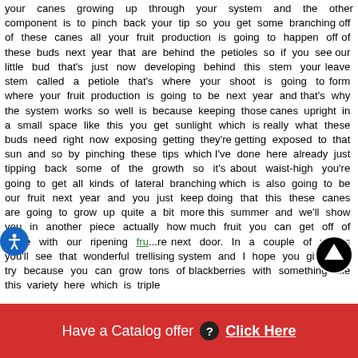your canes growing up through your system and the other component is to pinch back your tip so you get some branching off of these canes all your fruit production is going to happen off of these buds next year that are behind the petioles so if you see our little bud that's just now developing behind this stem your leave stem called a petiole that's where your shoot is going to form where your fruit production is going to be next year and that's why the system works so well is because keeping those canes upright in a small space like this you get sunlight which is really what these buds need right now exposing getting they're getting exposed to that sun and so by pinching these tips which I've done here already just tipping back some of the growth so it's about waist-high you're going to get all kinds of lateral branching which is also going to be our fruit next year and you just keep doing that this these canes are going to grow up quite a bit more this summer and we'll show you in another piece actually how much fruit you can get off of these with our ripening fru...re next door. In a couple of weeks you'll see that wonderful trellising system and I hope you give it a try because you can grow tons of blackberries with something like this variety here which is triple
Have a Catalog offer ? Click Here